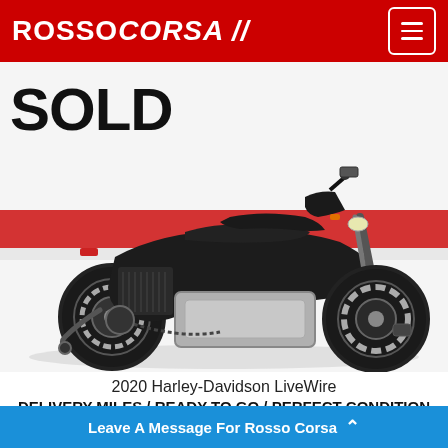ROSSOCORSA II
[Figure (photo): Black 2020 Harley-Davidson LiveWire electric motorcycle parked in front of a red and white backdrop, with 'SOLD' text overlaid in large black bold letters on the upper left of the image.]
2020 Harley-Davidson LiveWire
DELIVERY MILES / READY TO GO / PERFECT CONDITION
Leave A Message For Rosso Corsa